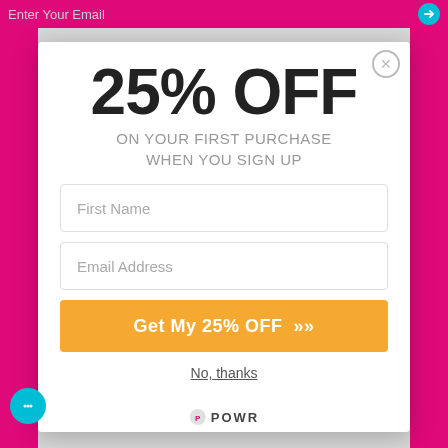25% OFF
ON YOUR FIRST PURCHASE WHEN YOU SIGN UP
First Name
Email Address
Get My 25% OFF »
No, thanks
POWR